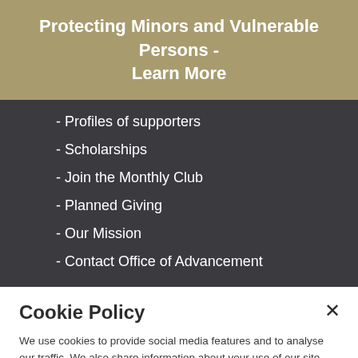Protecting Minors and Vulnerable Persons - Learn More
- Profiles of supporters
- Scholarships
- Join the Monthly Club
- Planned Giving
- Our Mission
- Contact Office of Advancement
Cookie Policy
We use cookies to provide social media features and to analyse our traffic. We also share information about your use of our site with our social media and analytics partners.
Cookies Settings  Accept All Cookies